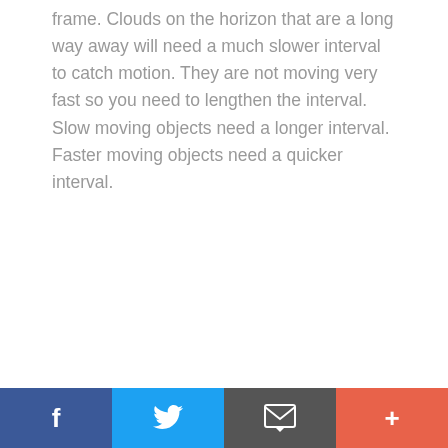frame. Clouds on the horizon that are a long way away will need a much slower interval to catch motion. They are not moving very fast so you need to lengthen the interval. Slow moving objects need a longer interval. Faster moving objects need a quicker interval.
[Figure (other): Social sharing bar with four buttons: Facebook (blue, f icon), Twitter (light blue, bird icon), Email/message (dark grey, envelope icon), More/add (orange-red, plus icon)]